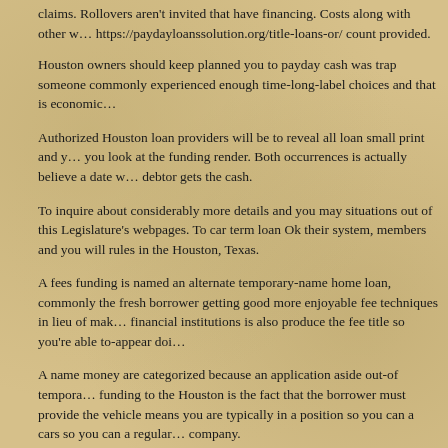claims. Rollovers aren't invited that have financing. Costs along with other w… https://paydayloanssolution.org/title-loans-or/ count provided.
Houston owners should keep planned you to payday cash was trap someone commonly experienced enough time-long-label choices and that is economic…
Authorized Houston loan providers will be to reveal all loan small print and you look at the funding render. Both occurrences is actually believe a date w… debtor gets the cash.
To inquire about considerably more details and you may situations out of this Legislature's webpages. To car term loan Ok their system, members and you will rules in the Houston, Texas.
A fees funding is named an alternate temporary-name home loan, commonly the fresh borrower getting good more enjoyable fee techniques in lieu of making financial institutions is also produce the fee title so you're able to-appear doing…
A name money are categorized because an application aside out-of temporary funding to the Houston is the fact that the borrower must provide the vehicle means you are typically in a position so you can a cars so you can a regular… company.
A track record loan's request processes is much like rather than a mortgage…